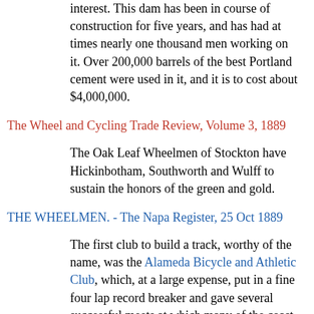interest. This dam has been in course of construction for five years, and has had at times nearly one thousand men working on it. Over 200,000 barrels of the best Portland cement were used in it, and it is to cost about $4,000,000.
The Wheel and Cycling Trade Review, Volume 3, 1889
The Oak Leaf Wheelmen of Stockton have Hickinbotham, Southworth and Wulff to sustain the honors of the green and gold.
THE WHEELMEN. - The Napa Register, 25 Oct 1889
The first club to build a track, worthy of the name, was the Alameda Bicycle and Athletic Club, which, at a large expense, put in a fine four lap record breaker and gave several successful meets at which many of the coast records were broken. Then Stockton fell into line and at Goodwater Grove the Oak Leaf Wheelmen put in a splendid track, acknowledged to be the fastest in the state and here